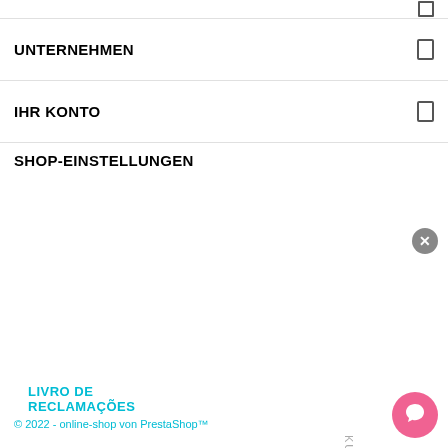UNTERNEHMEN
IHR KONTO
SHOP-EINSTELLUNGEN
LIVRO DE RECLAMAÇÕES
[Figure (other): Vertical rotated text 'KUNDENBEWERTUNGEN' with 5 gold stars arranged vertically]
© 2022 - online-shop von PrestaShop™